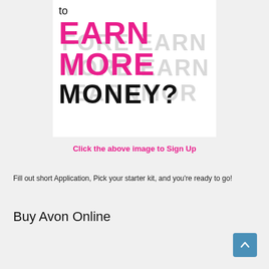[Figure (illustration): Promotional image with text 'to EARN MORE MONEY?' in pink and black bold letters on a white background with watermark-style repeated text]
Click the above image to Sign Up
Fill out short Application, Pick your starter kit, and you're ready to go!
Buy Avon Online